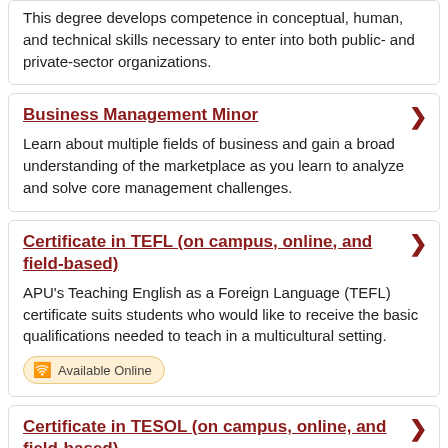This degree develops competence in conceptual, human, and technical skills necessary to enter into both public- and private-sector organizations.
Business Management Minor
Learn about multiple fields of business and gain a broad understanding of the marketplace as you learn to analyze and solve core management challenges.
Certificate in TEFL (on campus, online, and field-based)
APU's Teaching English as a Foreign Language (TEFL) certificate suits students who would like to receive the basic qualifications needed to teach in a multicultural setting.
Available Online
Certificate in TESOL (on campus, online, and field-based)
The Certificate in Teaching English to Speakers of Other